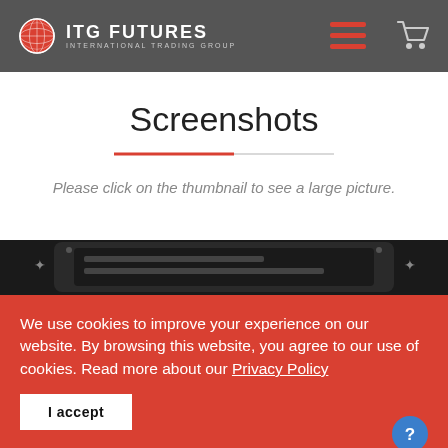[Figure (logo): ITG Futures International Trading Group logo with globe icon in red and white, site navigation bar with hamburger menu and cart icon on dark gray background]
Screenshots
Please click on the thumbnail to see a large picture.
[Figure (screenshot): Partial view of a dark device screenshot at the bottom of the white section]
We use cookies to improve your experience on our website. By browsing this website, you agree to our use of cookies. Read more about our Privacy Policy
I accept